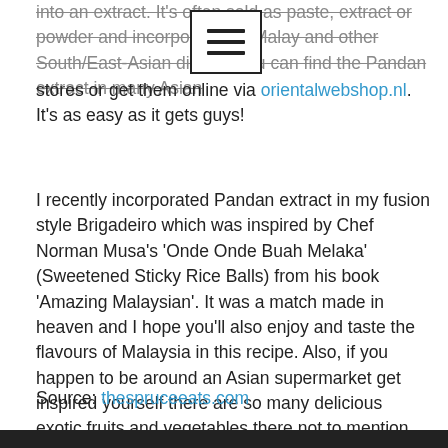into an extract. It's often sold as paste, extract or powder and incorporated in Malaysian and other South/East-Asian dishes. You can find the Pandan extract in many Asian stores or get them online via orientalwebshop.nl. It's as easy as it gets guys!
I recently incorporated Pandan extract in my fusion style Brigadeiro which was inspired by Chef Norman Musa's 'Onde Onde Buah Melaka' (Sweetened Sticky Rice Balls) from his book 'Amazing Malaysian'. It was a match made in heaven and I hope you'll also enjoy and taste the flavours of Malaysia in this recipe. Also, if you happen to be around an Asian supermarket get inspired yourself there are so many delicious exotic fruits and vegetables there not to mention the herbs and spices - I abolutely can't live without these stores ;-)
Source: thespruceeats.com
[Figure (photo): Dark image at the bottom of the page, partially visible]